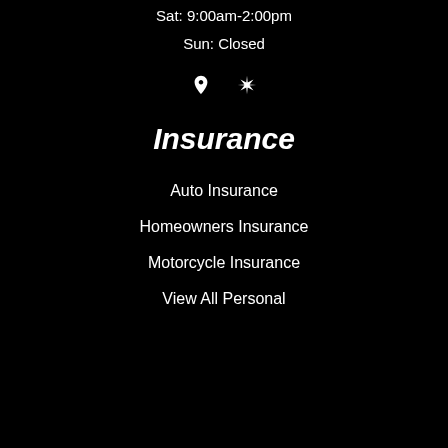Sat: 9:00am-2:00pm
Sun: Closed
[Figure (other): Location pin icon and Yelp icon]
Insurance
Auto Insurance
Homeowners Insurance
Motorcycle Insurance
View All Personal